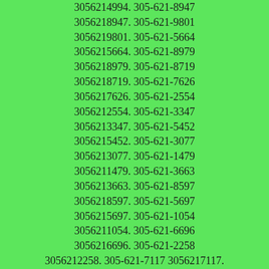3056214994. 305-621-8947 3056218947. 305-621-9801 3056219801. 305-621-5664 3056215664. 305-621-8979 3056218979. 305-621-8719 3056218719. 305-621-7626 3056217626. 305-621-2554 3056212554. 305-621-3347 3056213347. 305-621-5452 3056215452. 305-621-3077 3056213077. 305-621-1479 3056211479. 305-621-3663 3056213663. 305-621-8597 3056218597. 305-621-5697 3056215697. 305-621-1054 3056211054. 305-621-6696 3056216696. 305-621-2258 3056212258. 305-621-7117 3056217117. 305-621-1266 3056211266. 305-621-6443 3056216443. 305-621-7353 3056217353. 305-621-4025 3056214025. 305-621-1159 3056211159. 305-621-4527 3056214527. 305-621-7624 3056217624. 305-621-7564 3056217564. 305-621-3025